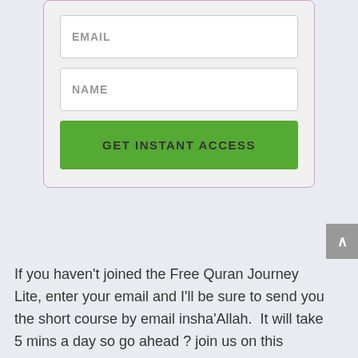[Figure (screenshot): Web form with EMAIL input field, NAME input field, and a green GET INSTANT ACCESS button, inside a card with light purple border on a gray background.]
If you haven't joined the Free Quran Journey Lite, enter your email and I'll be sure to send you the short course by email insha'Allah.  It will take 5 mins a day so go ahead ? join us on this journey, insha'Allah you will love it as much as I do.